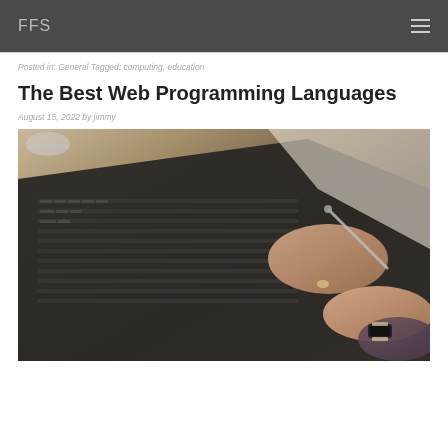FFS
Posted in: General Tagged: computing, education
The Best Web Programming Languages
August 15, 2022 by jimmy
[Figure (photo): Person typing on a MacBook laptop on a wooden desk, wearing rings and a smartwatch, with a pen in hand]